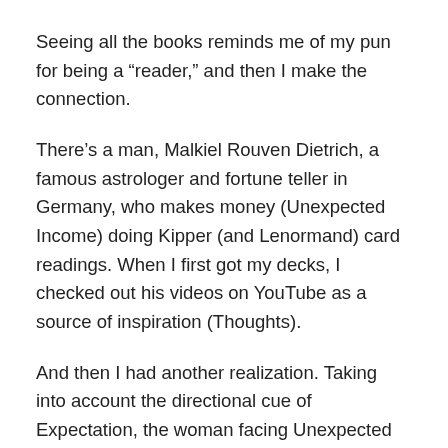Seeing all the books reminds me of my pun for being a “reader,” and then I make the connection.
There’s a man, Malkiel Rouven Dietrich, a famous astrologer and fortune teller in Germany, who makes money (Unexpected Income) doing Kipper (and Lenormand) card readings. When I first got my decks, I checked out his videos on YouTube as a source of inspiration (Thoughts).
And then I had another realization. Taking into account the directional cue of Expectation, the woman facing Unexpected Income, with Mature Man being further out is saying that in the upcoming future (looking ahead is seeing what’s coming up), within a few months maybe (Expectation being 3 months), I could see a sudden change (Unexpected Income) and become more